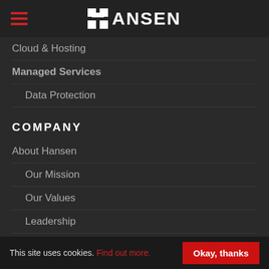HANSEN
Cloud & Hosting
Managed Services
Data Protection
COMPANY
About Hansen
Our Mission
Our Values
Leadership
History
Standards and Certification
Investor Relations
Partners
This site uses cookies. Find out more.
Okay, thanks